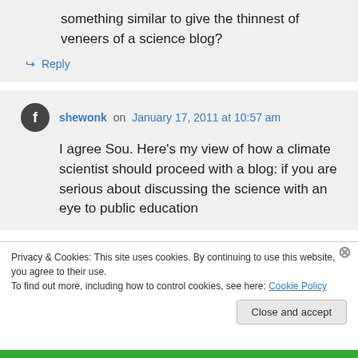something similar to give the thinnest of veneers of a science blog?
↪ Reply
shewonk on January 17, 2011 at 10:57 am
I agree Sou. Here's my view of how a climate scientist should proceed with a blog: if you are serious about discussing the science with an eye to public education
Privacy & Cookies: This site uses cookies. By continuing to use this website, you agree to their use.
To find out more, including how to control cookies, see here: Cookie Policy
Close and accept